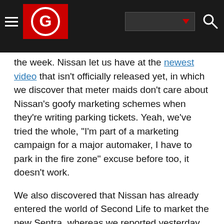[Autoblog logo and navigation header]
the week. Nissan let us have at the newest video that isn't officially released yet, in which we discover that meter maids don't care about Nissan's goofy marketing schemes when they're writing parking tickets. Yeah, we've tried the whole, "I'm part of a marketing campaign for a major automaker, I have to park in the fire zone" excuse before too, it doesn't work.
We also discovered that Nissan has already entered the world of Second Life to market the new Sentra, whereas we reported yesterday that Pontiac was planning to give away free land in the game starting sometime in November. We like Nissan's presence in the virtual world of Second Life more because it set up a virtual dealership and is giving away Sentras free in the game! The Second